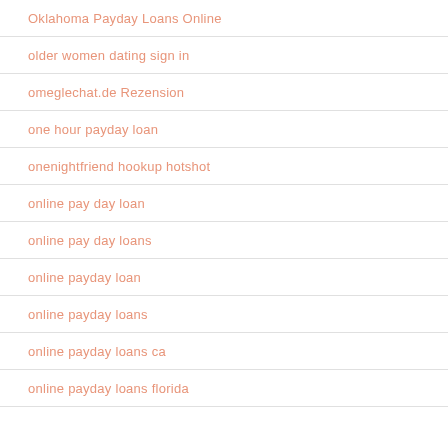Oklahoma Payday Loans Online
older women dating sign in
omeglechat.de Rezension
one hour payday loan
onenightfriend hookup hotshot
online pay day loan
online pay day loans
online payday loan
online payday loans
online payday loans ca
online payday loans florida